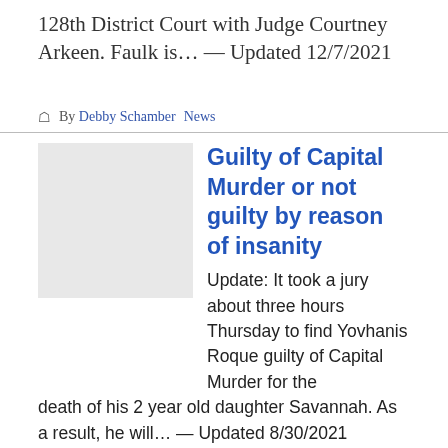128th District Court with Judge Courtney Arkeen. Faulk is… — Updated 12/7/2021
🧑 By Debby Schamber  News
Guilty of Capital Murder or not guilty by reason of insanity
Update: It took a jury about three hours Thursday to find Yovhanis Roque guilty of Capital Murder for the death of his 2 year old daughter Savannah. As a result, he will… — Updated 8/30/2021
🧑 By Debby Schamber  Columnists
Great Coaches Change Lives
"A good coach can change a game. A great coach can change a life," said John Wooden, college basketball coach. My daughter, Jessica, was